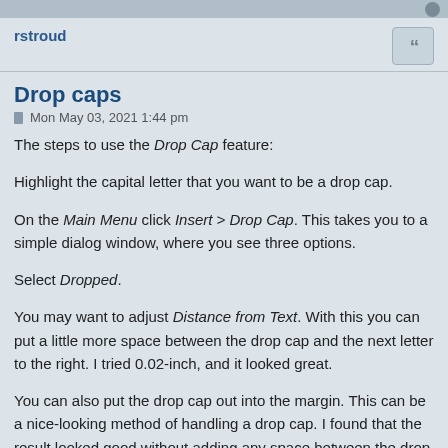rstroud
Drop caps
Mon May 03, 2021 1:44 pm
The steps to use the Drop Cap feature:
Highlight the capital letter that you want to be a drop cap.
On the Main Menu click Insert > Drop Cap. This takes you to a simple dialog window, where you see three options.
Select Dropped.
You may want to adjust Distance from Text. With this you can put a little more space between the drop cap and the next letter to the right. I tried 0.02-inch, and it looked great.
You can also put the drop cap out into the margin. This can be a nice-looking method of handling a drop cap. I found that the result looked good without adding any space between the drop cap and the text. You can experiment around and see what you like.